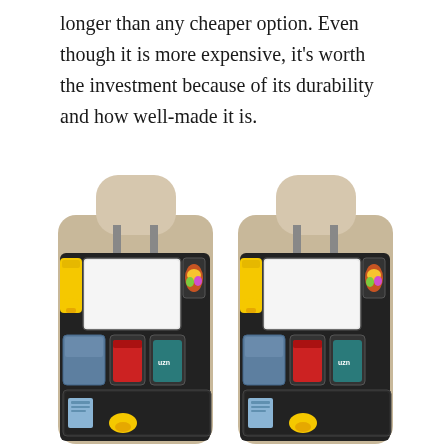longer than any cheaper option. Even though it is more expensive, it's worth the investment because of its durability and how well-made it is.
[Figure (photo): Two black car seat back organizers with multiple pockets, tablet holders, and cup holders, each mounted on beige car seats with headrests visible above. The organizers contain various items including yellow toys, drinks, and small accessories.]